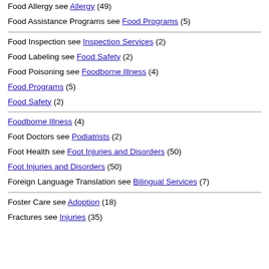Food Allergy see Allergy (49)
Food Assistance Programs see Food Programs (5)
Food Inspection see Inspection Services (2)
Food Labeling see Food Safety (2)
Food Poisoning see Foodborne Illness (4)
Food Programs (5)
Food Safety (2)
Foodborne Illness (4)
Foot Doctors see Podiatrists (2)
Foot Health see Foot Injuries and Disorders (50)
Foot Injuries and Disorders (50)
Foreign Language Translation see Bilingual Services (7)
Foster Care see Adoption (18)
Fractures see Injuries (35)